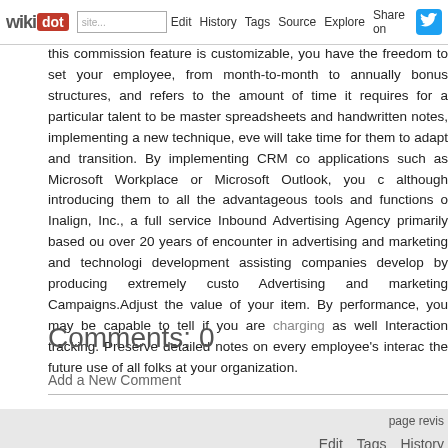wikidot | Edit | History | Tags | Source | Explore | Share on [Twitter]
this commission feature is customizable, you have the freedom to set your employee, from month-to-month to annually bonus structures, and refers to the amount of time it requires for a particular talent to be master spreadsheets and handwritten notes, implementing a new technique, eve will take time for them to adapt and transition. By implementing CRM co applications such as Microsoft Workplace or Microsoft Outlook, you c although introducing them to all the advantageous tools and functions o Inalign, Inc., a full service Inbound Advertising Agency primarily based ou over 20 years of encounter in advertising and marketing and technologi development assisting companies develop by producing extremely custo Advertising and marketing Campaigns.Adjust the value of your item. By performance, you may be capable to tell if you are charging as well Interaction tracking. Preserve detailed notes on every employee's intera the future use of all folks at your organization.
Comments: 0
Add a New Comment
page revis | Edit | Tags | History
Powered by Wikidot.com
Unless otherwise stated, the content of this page is lice